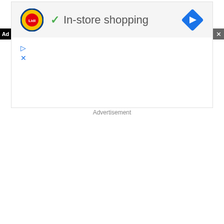[Figure (screenshot): Google Ad banner for Lidl showing Lidl logo, green checkmark, 'In-store shopping' text, and blue navigation arrow diamond icon on a light gray background. Below the gray bar is a white section with small blue play and X icons.]
Advertisement